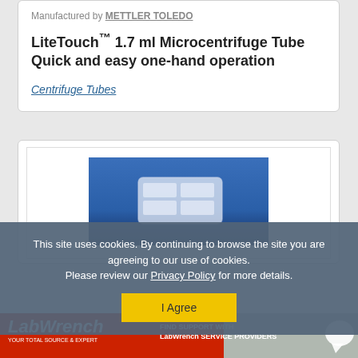Manufactured by METTLER TOLEDO
LiteTouch™ 1.7 ml Microcentrifuge Tube Quick and easy one-hand operation
Centrifuge Tubes
[Figure (photo): Photo of a white/translucent microcentrifuge tube rack or tray on a blue background]
This site uses cookies. By continuing to browse the site you are agreeing to our use of cookies. Please review our Privacy Policy for more details.
I Agree
[Figure (logo): LabWrench banner advertisement: red background with LabWrench logo and text FIND SUPPORT WITH LabWrench SERVICE PROVIDERS with a white chat bubble icon]